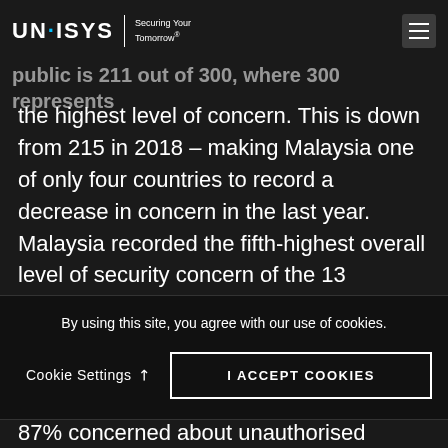UNISYS | Securing Your Tomorrow
The 2019 Unisys Security Index of the Malaysia public is 211 out of 300, where 300 represents the highest level of concern. This is down from 215 in 2018 – making Malaysia one of only four countries to record a decrease in concern in the last year. Malaysia recorded the fifth-highest overall level of security concern of the 13 countries surveyed.
Data Security Top Concern for Malaysians
By using this site, you agree with our use of cookies.
87% concerned about unauthorised access to